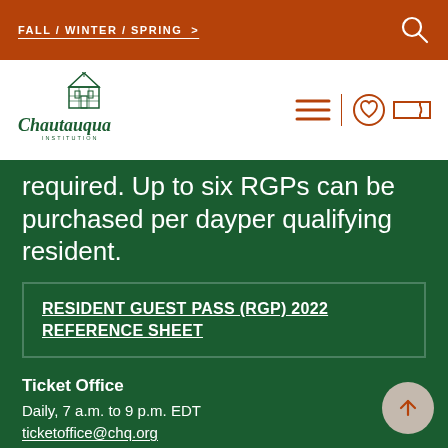FALL / WINTER / SPRING >
[Figure (logo): Chautauqua Institution logo with decorative building graphic above cursive text]
required. Up to six RGPs can be purchased per dayper qualifying resident.
RESIDENT GUEST PASS (RGP) 2022 REFERENCE SHEET
Ticket Office
Daily, 7 a.m. to 9 p.m. EDT
ticketoffice@chq.org
716.357.6250